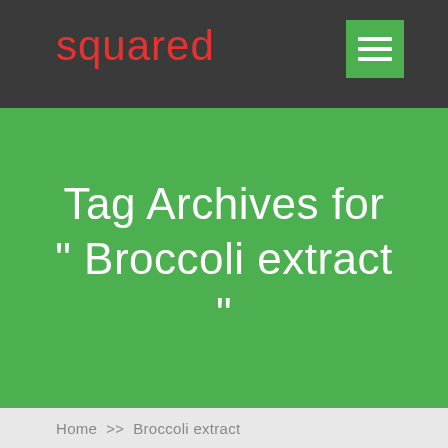squared
Tag Archives for " Broccoli extract "
Home >> Broccoli extract